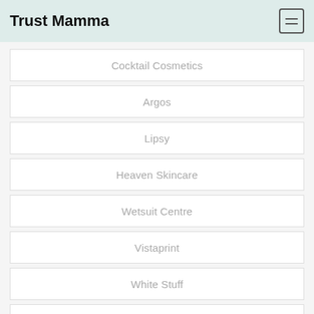Trust Mamma
Cocktail Cosmetics
Argos
Lipsy
Heaven Skincare
Wetsuit Centre
Vistaprint
White Stuff
Fitbug